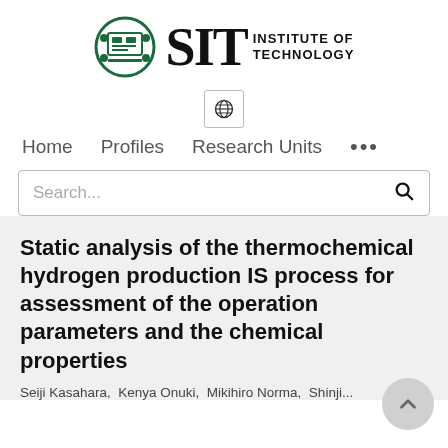[Figure (logo): SIT (Shibaura Institute of Technology) logo with circular green icon on left and bold SIT text with INSTITUTE OF TECHNOLOGY text on right]
[Figure (logo): Globe/language icon in a small bordered box]
Home   Profiles   Research Units   ...
Search...
Static analysis of the thermochemical hydrogen production IS process for assessment of the operation parameters and the chemical properties
Seiji Kasahara, Kenya Onuki, Mikihiro Norma, Shinji...